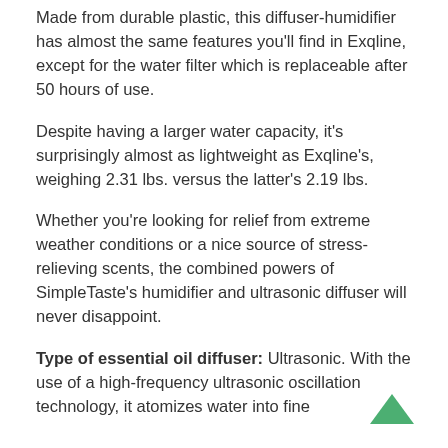Made from durable plastic, this diffuser-humidifier has almost the same features you'll find in Exqline, except for the water filter which is replaceable after 50 hours of use.
Despite having a larger water capacity, it's surprisingly almost as lightweight as Exqline's, weighing 2.31 lbs. versus the latter's 2.19 lbs.
Whether you're looking for relief from extreme weather conditions or a nice source of stress-relieving scents, the combined powers of SimpleTaste's humidifier and ultrasonic diffuser will never disappoint.
Type of essential oil diffuser: Ultrasonic. With the use of a high-frequency ultrasonic oscillation technology, it atomizes water into fine